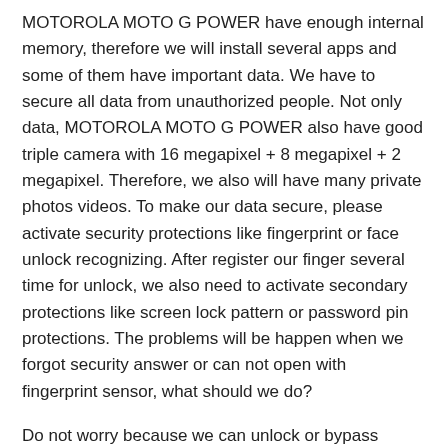MOTOROLA MOTO G POWER have enough internal memory, therefore we will install several apps and some of them have important data. We have to secure all data from unauthorized people. Not only data, MOTOROLA MOTO G POWER also have good triple camera with 16 megapixel + 8 megapixel + 2 megapixel. Therefore, we also will have many private photos videos. To make our data secure, please activate security protections like fingerprint or face unlock recognizing. After register our finger several time for unlock, we also need to activate secondary protections like screen lock pattern or password pin protections. The problems will be happen when we forgot security answer or can not open with fingerprint sensor, what should we do?
Do not worry because we can unlock or bypass forgotten screen lock pattern or password pin protections at MOTOROLA MOTO G POWER use registered Google account. We have to do hard reset using hardware button combination key like steps at #option 2 above. All new Motorola smartphone already use latest Android version with FRP (Factory Reset Protection) for give more security protections when our phone lost. After finish reformat or hard